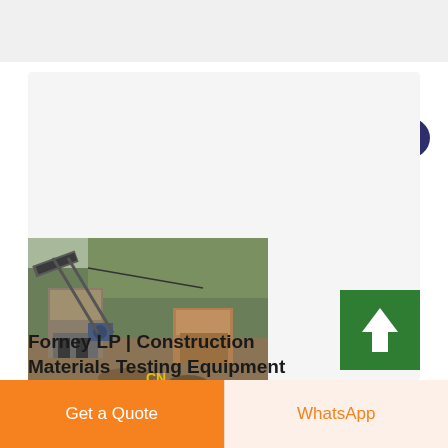[Figure (photo): Industrial crushing/mining equipment at an outdoor site, showing a large jaw crusher and conveyor system with rocky terrain and vegetation in background. Yellow 'CN' watermark in lower center.]
Forney LP | Construction Materials Testing Equipment
[Figure (infographic): Live Chat speech bubble icon in teal/dark blue]
[Figure (infographic): Green scroll-to-top button with white upward arrow]
Get a Quote
WhatsApp